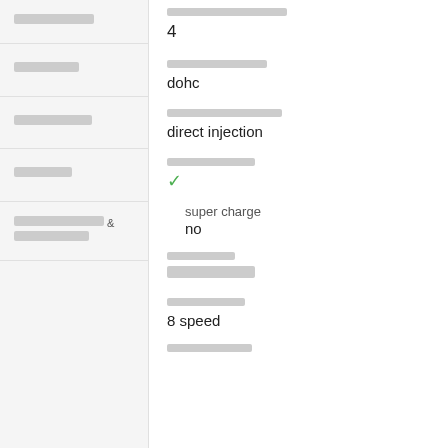[redacted nav item 1]
[redacted nav item 2]
[redacted nav item 3]
[redacted nav item 4]
[redacted nav item 5 & 6]
[redacted label] / 4
[redacted label] / dohc
[redacted label] / direct injection
[redacted label] / ✓
super charge / no
[redacted label] / [redacted value]
[redacted label] / 8 speed
[redacted label]